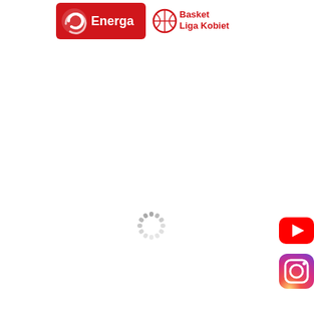[Figure (logo): Energa Basket Liga Kobiet logo — red background with white Energa text and swirl icon on the left, and red basketball/line icon with red 'Basket Liga Kobiet' text on the right]
[Figure (other): Loading spinner — circular dashed ring icon in grey, indicating a loading state]
[Figure (logo): YouTube icon — red rounded rectangle with white play triangle]
[Figure (logo): Instagram icon — colorful gradient rounded square with camera outline]